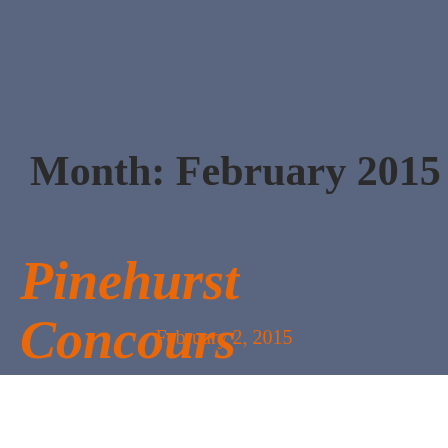Month: February 2015
Pinehurst Concours
February 2, 2015